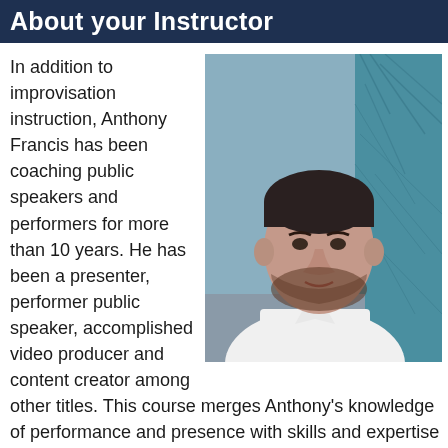About your Instructor
[Figure (photo): Professional headshot of Anthony Francis, a man with short dark hair and beard wearing a white collared shirt, photographed outdoors against a decorative teal wall.]
In addition to improvisation instruction, Anthony Francis has been coaching public speakers and performers for more than 10 years. He has been a presenter, performer public speaker, accomplished video producer and content creator among other titles. This course merges Anthony's knowledge of performance and presence with skills and expertise in storytelling to create professional and